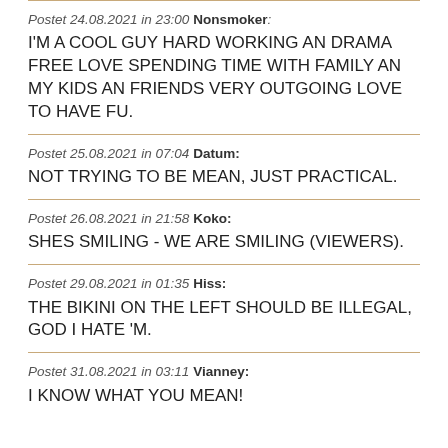Postet 24.08.2021 in 23:00 Nonsmoker: I'M A COOL GUY HARD WORKING AN DRAMA FREE LOVE SPENDING TIME WITH FAMILY AN MY KIDS AN FRIENDS VERY OUTGOING LOVE TO HAVE FU.
Postet 25.08.2021 in 07:04 Datum: NOT TRYING TO BE MEAN, JUST PRACTICAL.
Postet 26.08.2021 in 21:58 Koko: SHES SMILING - WE ARE SMILING (VIEWERS).
Postet 29.08.2021 in 01:35 Hiss: THE BIKINI ON THE LEFT SHOULD BE ILLEGAL, GOD I HATE 'M.
Postet 31.08.2021 in 03:11 Vianney: I KNOW WHAT YOU MEAN!